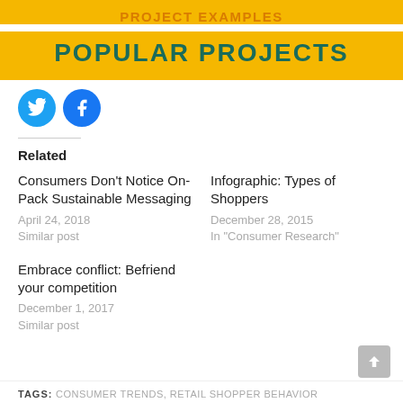PROJECT EXAMPLES
POPULAR PROJECTS
[Figure (illustration): Two social media share buttons: Twitter (bird icon, blue) and Facebook (f icon, blue)]
Related
Consumers Don't Notice On-Pack Sustainable Messaging
April 24, 2018
Similar post
Infographic: Types of Shoppers
December 28, 2015
In "Consumer Research"
Embrace conflict: Befriend your competition
December 1, 2017
Similar post
TAGS: CONSUMER TRENDS, RETAIL SHOPPER BEHAVIOR